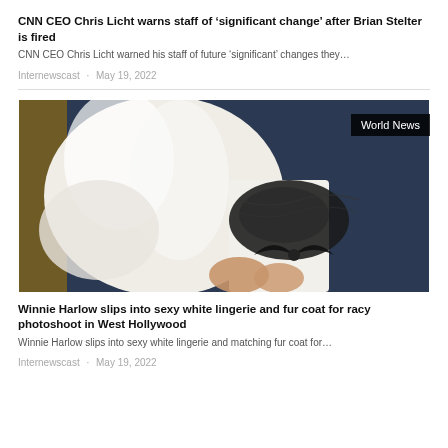CNN CEO Chris Licht warns staff of 'significant change' after Brian Stelter is fired
CNN CEO Chris Licht warned his staff of future ‘significant’ changes they…
Internewscast · May 19, 2022
[Figure (photo): Photo of a person wearing white lingerie and a white fur coat, with a World News badge in the top right corner]
Winnie Harlow slips into sexy white lingerie and fur coat for racy photoshoot in West Hollywood
Winnie Harlow slips into sexy white lingerie and matching fur coat for…
Internewscast · May 19, 2022